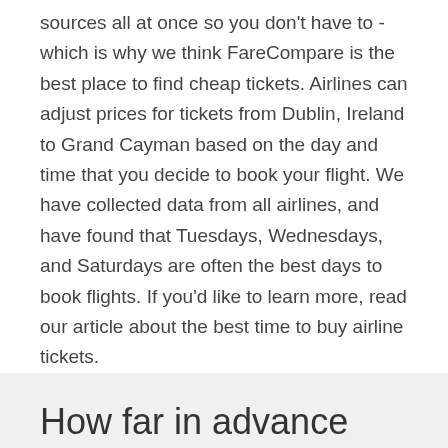sources all at once so you don't have to - which is why we think FareCompare is the best place to find cheap tickets. Airlines can adjust prices for tickets from Dublin, Ireland to Grand Cayman based on the day and time that you decide to book your flight. We have collected data from all airlines, and have found that Tuesdays, Wednesdays, and Saturdays are often the best days to book flights. If you'd like to learn more, read our article about the best time to buy airline tickets.
How far in advance should I book tickets from Dublin